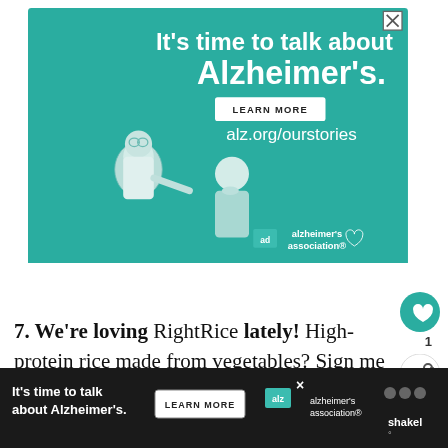[Figure (illustration): Alzheimer's Association advertisement banner with teal background showing two illustrated elderly figures, text 'It's time to talk about Alzheimer's.', a LEARN MORE button, URL alz.org/ourstories, and the Alzheimer's Association logo]
7. We're loving RightRice lately! High-protein rice made from vegetables? Sign me up! The nice people from RightRice sent me some samples to try, and we were instant fans! It's delicious, nu... shakel
[Figure (illustration): Bottom bar advertisement for Alzheimer's Association: dark background with 'It's time to talk about Alzheimer's.' text, LEARN MORE button, Alzheimer's Association logo, and decorative icons]